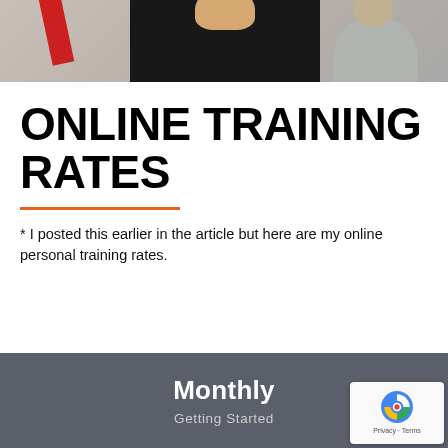[Figure (photo): Cropped photo showing two people from the chest up, one in a dark shirt and one in a gray shirt, with a red ribbon/flag visible on the left side]
ONLINE TRAINING RATES
* I posted this earlier in the article but here are my online personal training rates.
| Monthly | Getting Started |
| --- | --- |